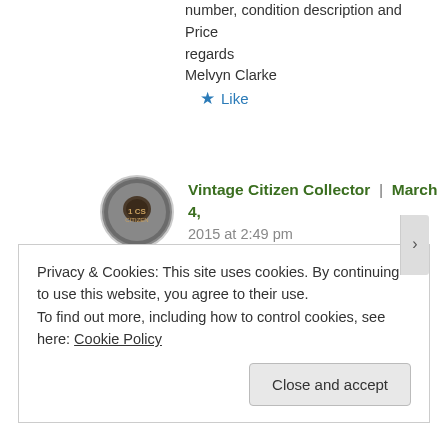number, condition description and Price
regards
Melvyn Clarke
★ Like
Vintage Citizen Collector | March 4, 2015 at 2:49 pm
👍 0 👎 0 ℹ Rate This
I will do it now. Let me know when you get the answer.
Privacy & Cookies: This site uses cookies. By continuing to use this website, you agree to their use.
To find out more, including how to control cookies, see here: Cookie Policy
Close and accept